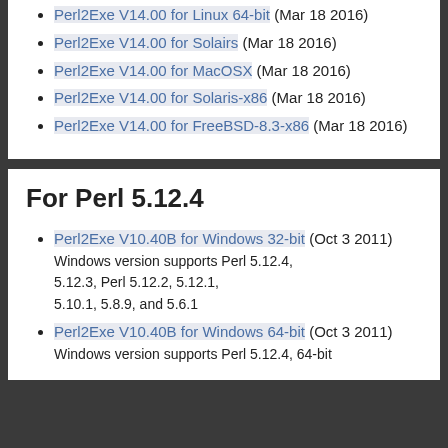Perl2Exe V14.00 for Linux 64-bit (Mar 18 2016)
Perl2Exe V14.00 for Solairs (Mar 18 2016)
Perl2Exe V14.00 for MacOSX (Mar 18 2016)
Perl2Exe V14.00 for Solaris-x86 (Mar 18 2016)
Perl2Exe V14.00 for FreeBSD-8.3-x86 (Mar 18 2016)
For Perl 5.12.4
Perl2Exe V10.40B for Windows 32-bit (Oct 3 2011)
Windows version supports Perl 5.12.4, 5.12.3, Perl 5.12.2, 5.12.1, 5.10.1, 5.8.9, and 5.6.1
Perl2Exe V10.40B for Windows 64-bit (Oct 3 2011)
Windows version supports Perl 5.12.4, 64-bit
Windows version supports Perl 5.12.4,